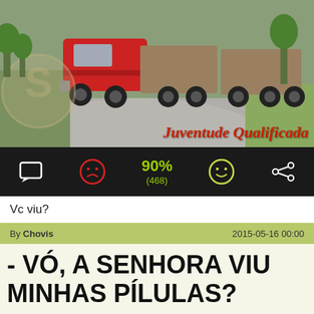[Figure (photo): A red semi-truck with large cargo trailer navigating a roundabout or curved road, photographed from the side. Green trees visible in background. Watermark logo visible at left. Text 'Juventude Qualificada' in red italic font at bottom right of image.]
[Figure (infographic): Dark toolbar with: comment bubble icon (white), sad face icon (red circle), 90% rating in green with (468) below, happy face icon (yellow circle outline), share icon (white)]
Vc viu?
By Chovis   2015-05-16 00:00
- VÓ, A SENHORA VIU MINHAS PÍLULAS?